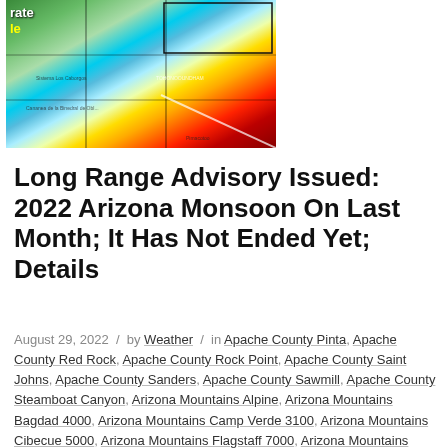[Figure (map): Weather/elevation map of Arizona region showing color gradient from green to red/dark red, with topographic and boundary lines overlaid. Partial text visible including 'rate' and 'le' in top-left corner.]
Long Range Advisory Issued: 2022 Arizona Monsoon On Last Month; It Has Not Ended Yet; Details
August 29, 2022 / by Weather / in Apache County Pinta, Apache County Red Rock, Apache County Rock Point, Apache County Saint Johns, Apache County Sanders, Apache County Sawmill, Apache County Steamboat Canyon, Arizona Mountains Alpine, Arizona Mountains Bagdad 4000, Arizona Mountains Camp Verde 3100, Arizona Mountains Cibecue 5000, Arizona Mountains Flagstaff 7000, Arizona Mountains Globe 3700, Arizona Mountains Heber-Overgaard 6500, Arizona Mountains